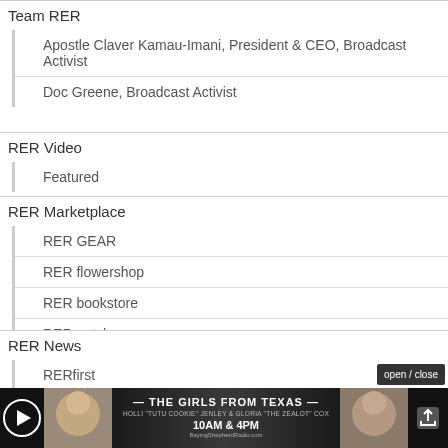Team RER
Apostle Claver Kamau-Imani, President & CEO, Broadcast Activist
Doc Greene, Broadcast Activist
RER Video
Featured
RER Marketplace
RER GEAR
RER flowershop
RER bookstore
RER petshop
RER News
RERfirst
RER Op-Eds
[Figure (screenshot): Bottom advertisement bar for 'The Girls From Texas' radio show, 10AM & 4PM, with play button and share icon]
open / close